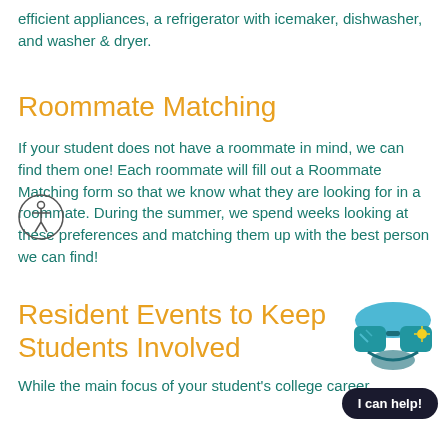efficient appliances, a refrigerator with icemaker, dishwasher, and washer & dryer.
Roommate Matching
If your student does not have a roommate in mind, we can find them one! Each roommate will fill out a Roommate Matching form so that we know what they are looking for in a roommate. During the summer, we spend weeks looking at these preferences and matching them up with the best person we can find!
[Figure (illustration): Accessibility icon - circular icon with a human figure]
Resident Events to Keep Students Involved
[Figure (illustration): Cartoon sunglasses emoji with teal/blue colors and a sun reflection]
[Figure (illustration): Dark navy oval button with white text reading 'I can help!']
While the main focus of your student's college career